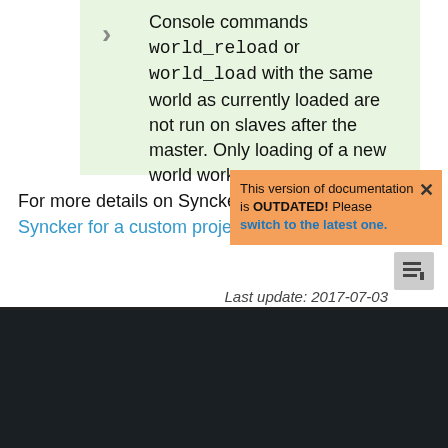Console commands world_reload or world_load with the same world as currently loaded are not run on slaves after the master. Only loading of a new world works.
This version of documentation is OUTDATED! Please switch to the latest one.
For more details on Syncker code, see Running Syncker for a custom project.
Last update: 2017-07-03
We use cookies to ensure that we give you the best experience on our website. Click here for more information.